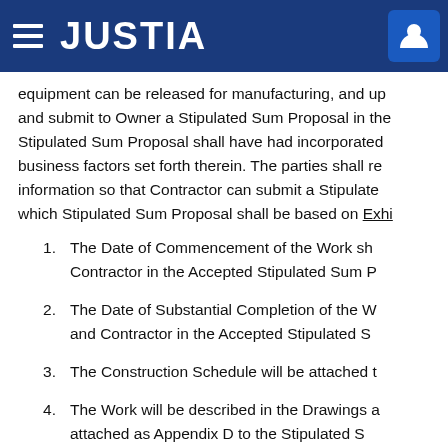JUSTIA
equipment can be released for manufacturing, and up and submit to Owner a Stipulated Sum Proposal in the Stipulated Sum Proposal shall have had incorporated business factors set forth therein. The parties shall re information so that Contractor can submit a Stipulate which Stipulated Sum Proposal shall be based on Exhi
1. The Date of Commencement of the Work sh Contractor in the Accepted Stipulated Sum P
2. The Date of Substantial Completion of the W and Contractor in the Accepted Stipulated S
3. The Construction Schedule will be attached t
4. The Work will be described in the Drawings a attached as Appendix D to the Stipulated S